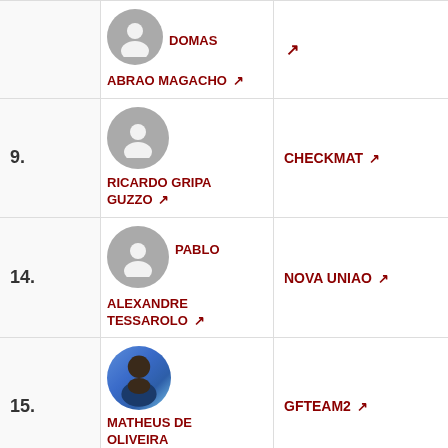| Rank | Athlete | Team |
| --- | --- | --- |
|  | DOMAS / ABRAO MAGACHO |  |
| 9. | RICARDO GRIPA GUZZO | CHECKMAT |
| 14. | PABLO ALEXANDRE TESSAROLO | NOVA UNIAO |
| 15. | MATHEUS DE OLIVEIRA BATISTA | GFTEAM2 |
| 16. |  | GF TEAM |